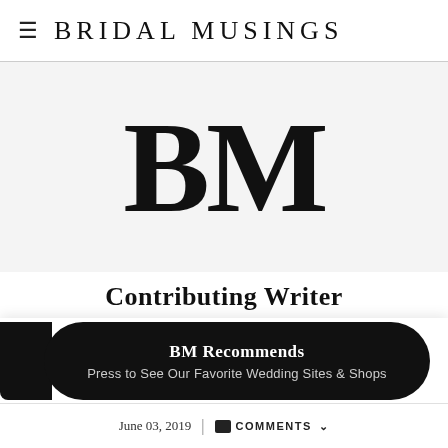≡  BRIDAL MUSINGS
[Figure (logo): Large BM monogram logo in bold serif font on light grey background]
Contributing Writer
We use cookies to optimize our website and our service.  Do Not Sell My Personal Information - Privacy statement
[Figure (other): BM Recommends black pill-shaped button with text 'Press to See Our Favorite Wedding Sites & Shops']
June 03, 2019  |  ■  COMMENTS  ˅